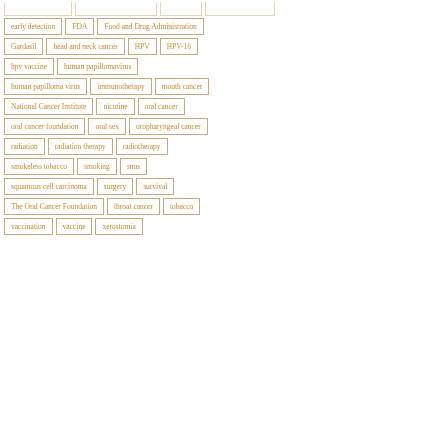early detection
FDA
Food and Drug Administration
Gardasil
head and neck cancer
HPV
HPV-16
hpv vaccine
human papillomavirus
human papilloma virus
immunotherapy
mouth cancer
National Cancer Institute
nicotine
oral cancer
oral cancer foundation
oral sex
oropharyngeal cancer
radiation
radiation therapy
radiotherapy
smokeless tobacco
smoking
snus
squamous cell carcinoma
surgery
survival
The Oral Cancer Foundation
throat cancer
tobacco
vaccination
vaccine
xerostomia